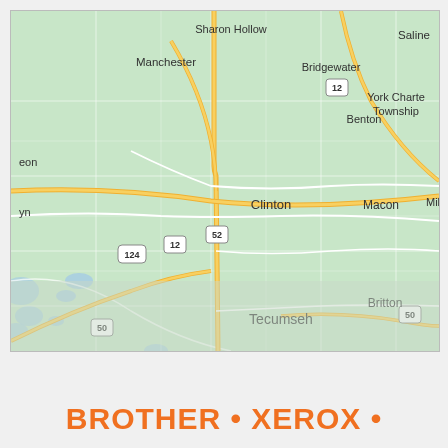[Figure (map): Google Maps view of Lenawee/Washtenaw County area in Michigan showing towns: Sharon Hollow, Manchester, Bridgewater, Saline, Benton, York Charter Township, Milan, Clinton, Macon, Tipton, Tecumseh, Britton, Onsted, Adrian, Wellsville, Petersburg, with route numbers 124, 12, 52, 50, 223, 34 marked.]
BROTHER • XEROX •